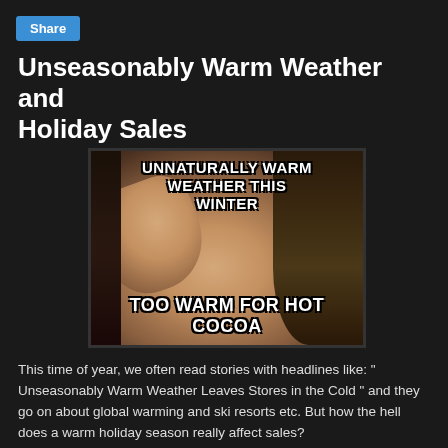Share
Unseasonably Warm Weather and Holiday Sales
[Figure (illustration): A 'First World Problems' meme image showing a woman with dark hair crying with her hand on her forehead. Top text reads 'UNNATURALLY WARM WEATHER THIS WINTER' and bottom text reads 'TOO WARM FOR HOT COCOA'.]
This time of year, we often read stories with headlines like: " Unseasonably Warm Weather Leaves Stores in the Cold " and they go on about global warming and ski resorts etc. But how the hell does a warm holiday season really affect sales?